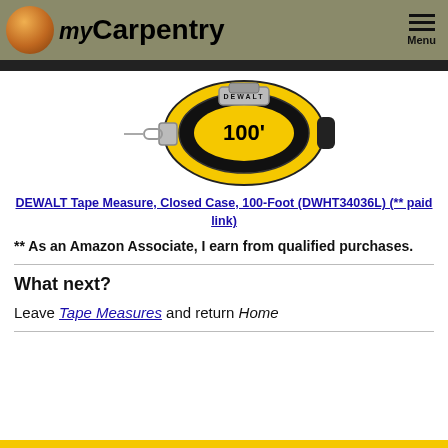myCarpentry
[Figure (photo): DEWALT 100-foot closed case tape measure, yellow and black, with metal clip, showing '100'' label on the case]
DEWALT Tape Measure, Closed Case, 100-Foot (DWHT34036L) (** paid link)
** As an Amazon Associate, I earn from qualified purchases.
What next?
Leave Tape Measures and return Home